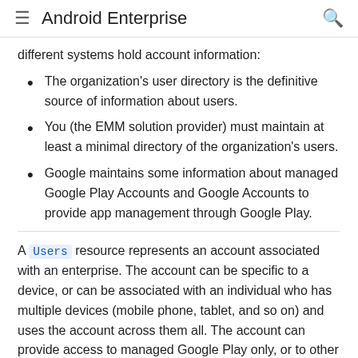Android Enterprise
different systems hold account information:
The organization's user directory is the definitive source of information about users.
You (the EMM solution provider) must maintain at least a minimal directory of the organization's users.
Google maintains some information about managed Google Play Accounts and Google Accounts to provide app management through Google Play.
A Users resource represents an account associated with an enterprise. The account can be specific to a device, or can be associated with an individual who has multiple devices (mobile phone, tablet, and so on) and uses the account across them all. The account can provide access to managed Google Play only, or to other Google services